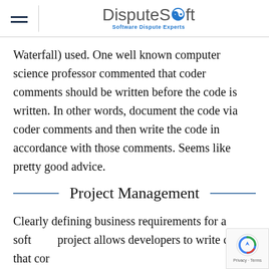DisputeSoft — Software Dispute Experts
Waterfall) used. One well known computer science professor commented that coder comments should be written before the code is written. In other words, document the code via coder comments and then write the code in accordance with those comments. Seems like pretty good advice.
Project Management
Clearly defining business requirements for a software project allows developers to write code that correctly